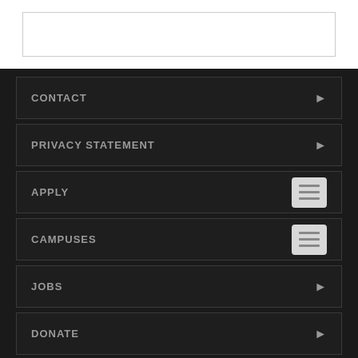[Figure (screenshot): White search/input box area at top of page]
CONTACT
PRIVACY STATEMENT
APPLY
CAMPUSES
JOBS
DONATE
EMERGENCY
LOGIN